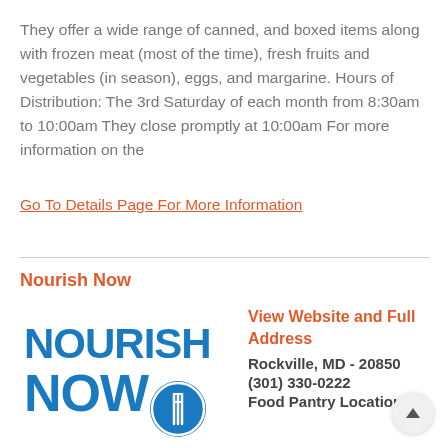They offer a wide range of canned, and boxed items along with frozen meat (most of the time), fresh fruits and vegetables (in season), eggs, and margarine. Hours of Distribution: The 3rd Saturday of each month from 8:30am to 10:00am They close promptly at 10:00am For more information on the
Go To Details Page For More Information
Nourish Now
[Figure (logo): Nourish Now logo in blue with fork and circle graphic]
View Website and Full Address
Rockville, MD - 20850
(301) 330-0222
Food Pantry Location: